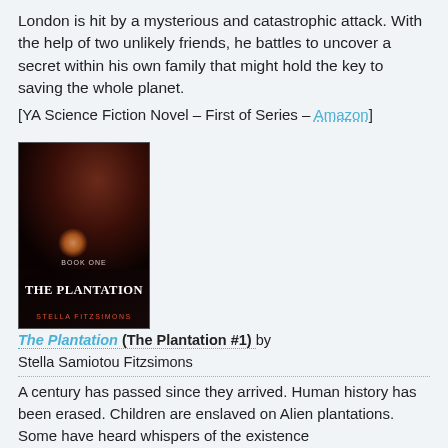London is hit by a mysterious and catastrophic attack. With the help of two unlikely friends, he battles to uncover a secret within his own family that might hold the key to saving the whole planet.
[YA Science Fiction Novel – First of Series – Amazon]
[Figure (photo): Book cover of 'The Plantation' by Stella Fitzsimons, showing a dark-toned image of a young woman with ornate decorations, with the text 'BOOK ONE', 'THE PLANTATION', 'STELLA FITZSIMONS'.]
The Plantation (The Plantation #1) by Stella Samiotou Fitzsimons
A century has passed since they arrived. Human history has been erased. Children are enslaved on Alien plantations. Some have heard whispers of the existence